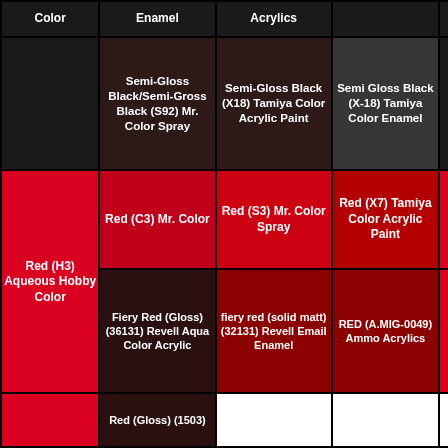| Color | Enamel | Acrylics |  |
| --- | --- | --- | --- |
|  | Semi-Gloss Black/Semi-Gross Black (S92) Mr. Color Spray | Semi-Gloss Black (X18) Tamiya Color Acrylic Paint | Semi Gloss Black (X-18) Tamiya Color Enamel |  |
| Red (H3) Aqueous Hobby Color | Red (C3) Mr. Color | Red (S3) Mr. Color Spray | Red (X7) Tamiya Color Acrylic Paint |  |
| Red (H3) Aqueous Hobby Color | Fiery Red (Gloss) (36131) Revell Aqua Color Acrylic | fiery red (solid matt) (32131) Revell Email Enamel | RED (A.MIG-0049) Ammo Acrylics |  |
|  | Red (Gloss) (1503) |  |  |  |